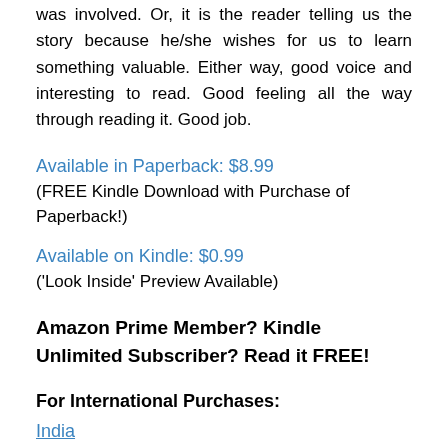was involved. Or, it is the reader telling us the story because he/she wishes for us to learn something valuable. Either way, good voice and interesting to read. Good feeling all the way through reading it. Good job.
Available in Paperback: $8.99
(FREE Kindle Download with Purchase of Paperback!)
Available on Kindle: $0.99
('Look Inside' Preview Available)
Amazon Prime Member?  Kindle Unlimited Subscriber?  Read it FREE!
For International Purchases:
India
United Kingdom
Germany
F…